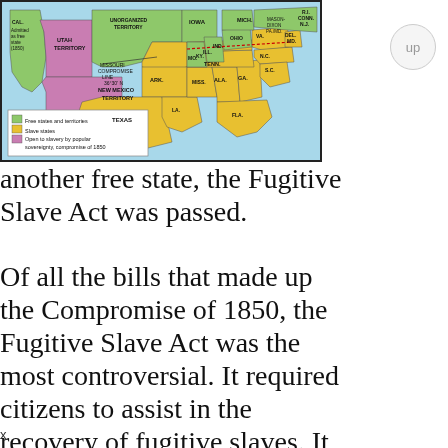[Figure (map): Map of the United States circa 1850 showing free states and territories (green), slave states (yellow/gold), and areas open to slavery by popular sovereignty under the Compromise of 1850 (purple/pink). Labeled regions include: CAL. (admitted as free state 1850), Utah Territory, Unorganized Territory, Iowa, Michigan, Mason-Dixon, R.I., Conn., N.J., Ohio, Indiana, Illinois, Missouri, Kentucky, Virginia, Delaware, Maryland, Missouri Compromise Line 36°30'N, New Mexico Territory, Arkansas, Tennessee, North Carolina, South Carolina, Mississippi, Alabama, Georgia, Texas, Louisiana, Florida. Legend shows: Free states and territories (green), Slave states (yellow), Open to slavery by popular sovereignty, compromise of 1850 (pink).]
another free state, the Fugitive Slave Act was passed.
Of all the bills that made up the Compromise of 1850, the Fugitive Slave Act was the most controversial. It required citizens to assist in the recovery of fugitive slaves. It denied a fugitive's right to a jury trial. (Cases would instead be handled by special commisioners -- commisioners
x